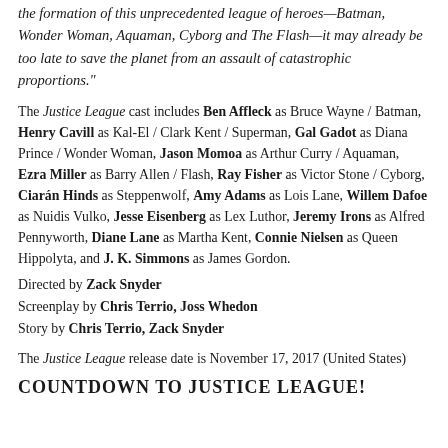the formation of this unprecedented league of heroes—Batman, Wonder Woman, Aquaman, Cyborg and The Flash—it may already be too late to save the planet from an assault of catastrophic proportions."
The Justice League cast includes Ben Affleck as Bruce Wayne / Batman, Henry Cavill as Kal-El / Clark Kent / Superman, Gal Gadot as Diana Prince / Wonder Woman, Jason Momoa as Arthur Curry / Aquaman, Ezra Miller as Barry Allen / Flash, Ray Fisher as Victor Stone / Cyborg, Ciarán Hinds as Steppenwolf, Amy Adams as Lois Lane, Willem Dafoe as Nuidis Vulko, Jesse Eisenberg as Lex Luthor, Jeremy Irons as Alfred Pennyworth, Diane Lane as Martha Kent, Connie Nielsen as Queen Hippolyta, and J. K. Simmons as James Gordon.
Directed by Zack Snyder
Screenplay by Chris Terrio, Joss Whedon
Story by Chris Terrio, Zack Snyder
The Justice League release date is November 17, 2017 (United States)
COUNTDOWN TO JUSTICE LEAGUE!